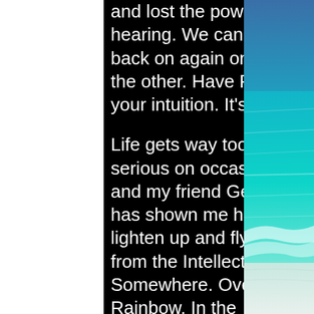and lost the power of hearing. We can jump back on again one after the other. Have Faith in your intuition. It's clever.

Life gets way too serious on occasion and my friend George has shown me how to lighten up and fly away from the Intellect. Somewhere. Over. The. Rainbow. In the morning I'm back home again ready for another day of glorious creation.
[Figure (photo): Ocean/beach photo on the right side of the page showing turquoise water and white sand]